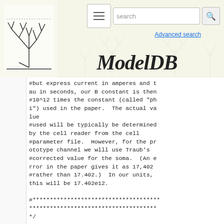ModelDB
#but express current in amperes and tau in seconds, our B constant is then #10^12 times the constant (called "phi") used in the paper.  The actual value
#used will be typically be determined by the cell reader from the cell #parameter file.  However, for the prototype channel we wlll use Traub's #corrected value for the soma.  (An error in the paper gives it as 17,402 #rather than 17.402.)  In our units, this will be 17.402e12.

#*************************************** *************************************** */



#//================================